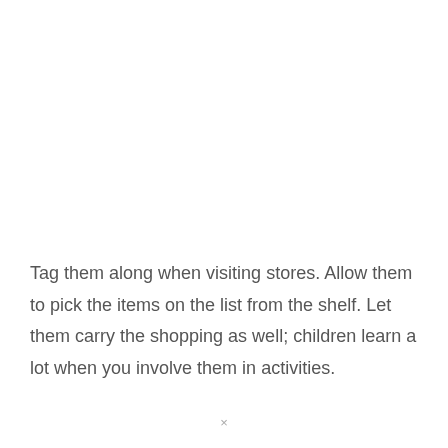Tag them along when visiting stores. Allow them to pick the items on the list from the shelf. Let them carry the shopping as well; children learn a lot when you involve them in activities.
×